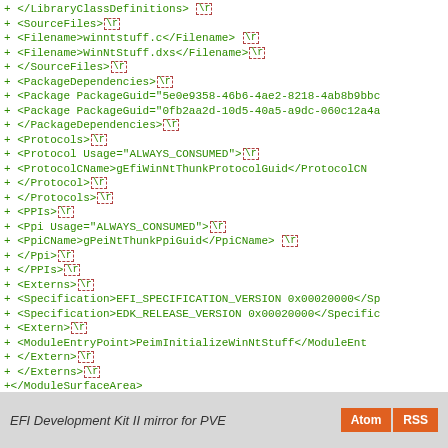+ </LibraryClassDefinitions>\r
+ <SourceFiles>\r
+     <Filename>winntstuff.c</Filename>\r
+     <Filename>WinNtStuff.dxs</Filename>\r
+ </SourceFiles>\r
+ <PackageDependencies>\r
+     <Package PackageGuid="5e0e9358-46b6-4ae2-8218-4ab8b9bbc...">\r
+     <Package PackageGuid="0fb2aa2d-10d5-40a5-a9dc-060c12a4a...">\r
+ </PackageDependencies>\r
+ <Protocols>\r
+     <Protocol Usage="ALWAYS_CONSUMED">\r
+         <ProtocolCName>gEfiWinNtThunkProtocolGuid</ProtocolCN...>\r
+     </Protocol>\r
+ </Protocols>\r
+ <PPIs>\r
+     <Ppi Usage="ALWAYS_CONSUMED">\r
+         <PpiCName>gPeiNtThunkPpiGuid</PpiCName>\r
+     </Ppi>\r
+ </PPIs>\r
+ <Externs>\r
+     <Specification>EFI_SPECIFICATION_VERSION 0x00020000</Sp...>\r
+     <Specification>EDK_RELEASE_VERSION 0x00020000</Specific...>\r
+     <Extern>\r
+         <ModuleEntryPoint>PeimInitializeWinNtStuff</ModuleEnt...>\r
+     </Extern>\r
+ </Externs>\r
+</ModuleSurfaceArea>
\ No newline at end of file
EFI Development Kit II mirror for PVE